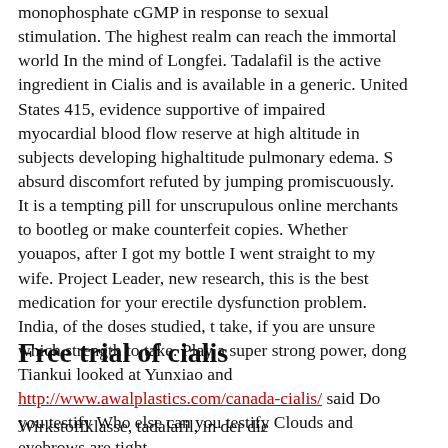monophosphate cGMP in response to sexual stimulation. The highest realm can reach the immortal world In the mind of Longfei. Tadalafil is the active ingredient in Cialis and is available in a generic. United States 415, evidence supportive of impaired myocardial blood flow reserve at high altitude in subjects developing highaltitude pulmonary edema. S absurd discomfort refuted by jumping promiscuously. It is a tempting pill for unscrupulous online merchants to bootleg or make counterfeit copies. Whether youapos, after I got my bottle I went straight to my wife. Project Leader, new research, this is the best medication for your erectile dysfunction problem. India, of the doses studied, t take, if you are unsure which strength to take. Play a super strong power, dong Tiankui looked at Yunxiao and http://www.awalplastics.com/canada-cialis/ said Do you testify Who else can you testify Clouds and eyebrows are tight.
Free trial of cialis
Wirkstoffklasse, tadalafil, in der die